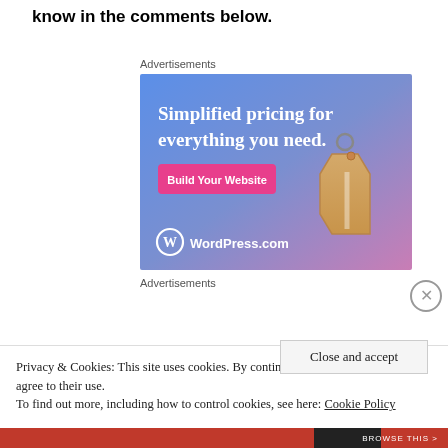know in the comments below.
Advertisements
[Figure (illustration): WordPress.com advertisement banner with gradient blue-to-purple background, text 'Simplified pricing for everything you need.', a pink 'Build Your Website' button, a price tag illustration, and WordPress.com logo at bottom left.]
Advertisements
Privacy & Cookies: This site uses cookies. By continuing to use this website, you agree to their use.
To find out more, including how to control cookies, see here: Cookie Policy
Close and accept